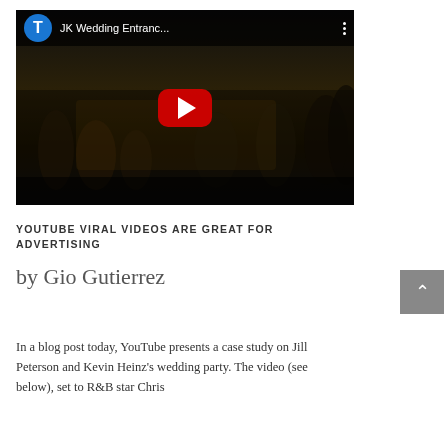[Figure (screenshot): YouTube video thumbnail showing 'JK Wedding Entranc...' with play button, channel avatar with letter T, and dark video background showing wedding party dancers]
YOUTUBE VIRAL VIDEOS ARE GREAT FOR ADVERTISING
by Gio Gutierrez
In a blog post today, YouTube presents a case study on Jill Peterson and Kevin Heinz's wedding party. The video (see below), set to R&B star Chris